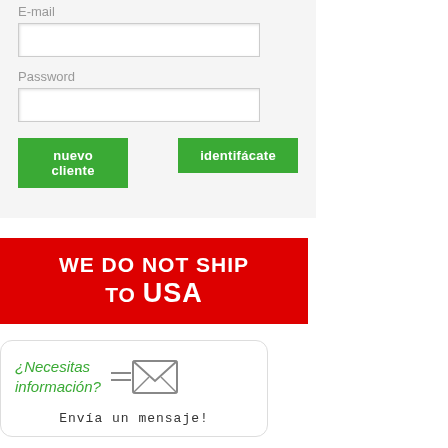E-mail
Password
nuevo cliente
identifácate
[Figure (infographic): Red banner reading WE DO NOT SHIP TO USA in white bold uppercase text on red background]
[Figure (infographic): White rounded card with green italic text '¿Necesitas información?' and an envelope icon, with 'Envía un mensaje!' in monospace below]
[Figure (logo): Xenical orlistat logo with teal text and leaf graphic, partial woman's face visible on right side]